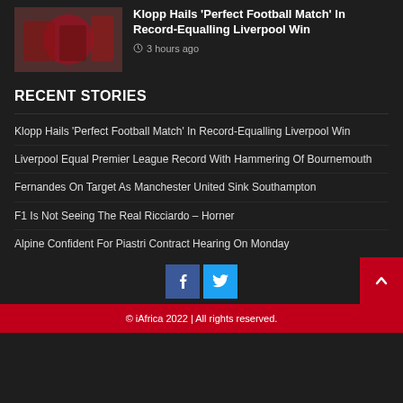[Figure (photo): Football scene with players in red jerseys]
Klopp Hails 'Perfect Football Match' In Record-Equalling Liverpool Win
3 hours ago
RECENT STORIES
Klopp Hails 'Perfect Football Match' In Record-Equalling Liverpool Win
Liverpool Equal Premier League Record With Hammering Of Bournemouth
Fernandes On Target As Manchester United Sink Southampton
F1 Is Not Seeing The Real Ricciardo – Horner
Alpine Confident For Piastri Contract Hearing On Monday
© iAfrica 2022 | All rights reserved.